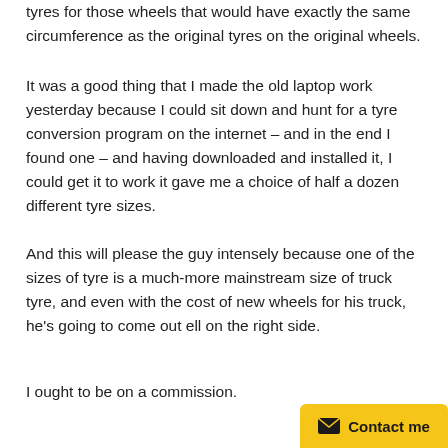tyres for those wheels that would have exactly the same circumference as the original tyres on the original wheels.
It was a good thing that I made the old laptop work yesterday because I could sit down and hunt for a tyre conversion program on the internet – and in the end I found one – and having downloaded and installed it, I could get it to work it gave me a choice of half a dozen different tyre sizes.
And this will please the guy intensely because one of the sizes of tyre is a much-more mainstream size of truck tyre, and even with the cost of new wheels for his truck, he's going to come out ell on the right side.
I ought to be on a commission.
[Figure (other): Contact me button with envelope icon, golden/yellow background]